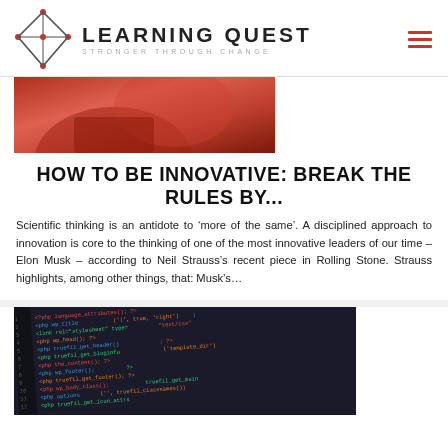[Figure (logo): Learning Quest logo with geometric diamond/kite shape in red and gray lines, text LEARNING QUEST STRONGER THROUGH CHANGE]
[Figure (photo): Partial photo of a person in red/dark clothing, cropped at top]
HOW TO BE INNOVATIVE: BREAK THE RULES BY...
Scientific thinking is an antidote to ‘more of the same’. A disciplined approach to innovation is core to the thinking of one of the most innovative leaders of our time – Elon Musk – according to Neil Strauss’s recent piece in Rolling Stone. Strauss highlights, among other things, that: Musk’s…
[Figure (photo): Close-up photo of a computer screen showing colorful code (HTML/PHP) on a dark background]